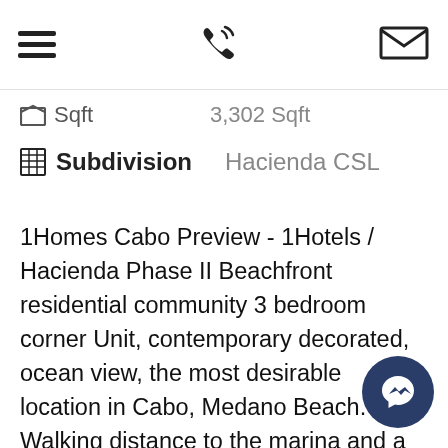[Navigation bar with hamburger menu, phone icon, and email icon]
sqft   3,302 Sqft
Subdivision   Hacienda CSL
1Homes Cabo Preview - 1Hotels / Hacienda Phase II Beachfront residential community 3 bedroom corner Unit, contemporary decorated, ocean view, the most desirable location in Cabo, Medano Beach. Walking distance to the marina and a year around swimmable beach. With services and amenities like gym, adults and three family pools, putting green, valet parking, on-site restaurants and much more Enjoy the land's ends views from the hot tub on the terrace or city lights from additional terraces. Walk to restaurants, centrally located 15 minutes from Cabo San Lucas private airport and steps to the Luxury yachts Marina. Amenities